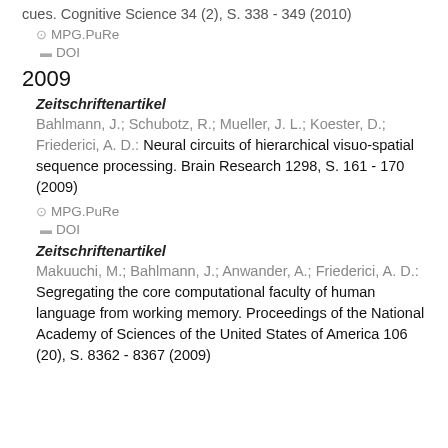cues. Cognitive Science 34 (2), S. 338 - 349 (2010)
MPG.PuRe
DOI
2009
Zeitschriftenartikel
Bahlmann, J.; Schubotz, R.; Mueller, J. L.; Koester, D.; Friederici, A. D.: Neural circuits of hierarchical visuo-spatial sequence processing. Brain Research 1298, S. 161 - 170 (2009)
MPG.PuRe
DOI
Zeitschriftenartikel
Makuuchi, M.; Bahlmann, J.; Anwander, A.; Friederici, A. D.: Segregating the core computational faculty of human language from working memory. Proceedings of the National Academy of Sciences of the United States of America 106 (20), S. 8362 - 8367 (2009)